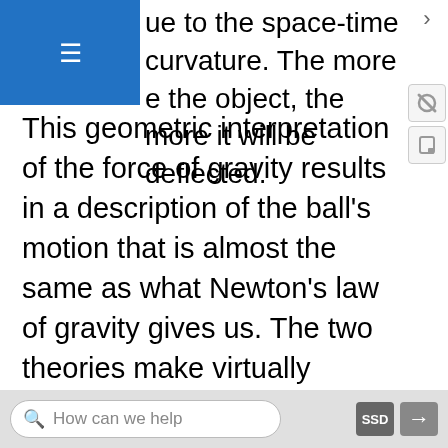ue to the space-time curvature. The more e the object, the more it will be deflected.
This geometric interpretation of the force of gravity results in a description of the ball’s motion that is almost the same as what Newton’s law of gravity gives us. The two theories make virtually identical predictions in what we call the “weak field” approximation, where the force of gravity is modest. Gravitationally speaking, the environment in which we live is always within this weak field limit. That is why it took more than 200 years of observation and experimentation before there was a strong enough case to overthrow Newton’s law of gravity. The places where his theory did not work had to do with such subtle effects as the rotation of Mercury’s elliptical orbit
How can we help